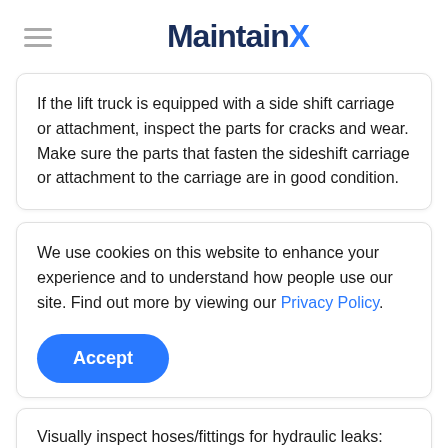MaintainX
If the lift truck is equipped with a side shift carriage or attachment, inspect the parts for cracks and wear. Make sure the parts that fasten the sideshift carriage or attachment to the carriage are in good condition.
We use cookies on this website to enhance your experience and to understand how people use our site. Find out more by viewing our Privacy Policy.
Accept
Visually inspect hoses/fittings for hydraulic leaks: